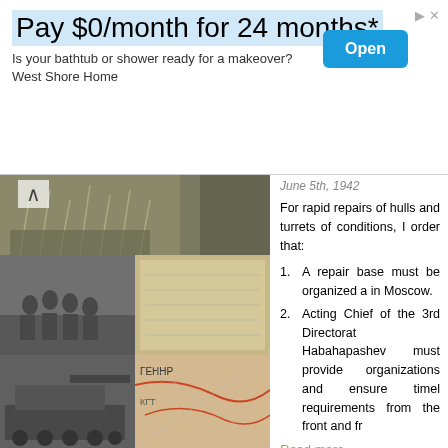[Figure (infographic): Advertisement banner: Pay $0/month for 24 months* - Is your bathtub or shower ready for a makeover? West Shore Home. Blue Open button on right.]
[Figure (photo): Collage of WWII-era black and white photographs: tanks in field, soldiers, and a map section]
June 5th, 1942
For rapid repairs of hulls and turrets of conditions, I order that:
A repair base must be organized a in Moscow.
Acting Chief of the 3rd Directorat Habahapashev must provide organizations and ensure timel requirements from the front and fr
Read more »
at 08:46:00   No comments:
Labels: T-34, time and money
Monday, 20 September 2021